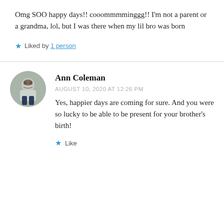Omg SOO happy days!! cooommmminggg!! I'm not a parent or a grandma, lol, but I was there when my lil bro was born
★ Liked by 1 person
Ann Coleman
AUGUST 10, 2020 AT 12:26 PM
Yes, happier days are coming for sure. And you were so lucky to be able to be present for your brother's birth!
★ Like